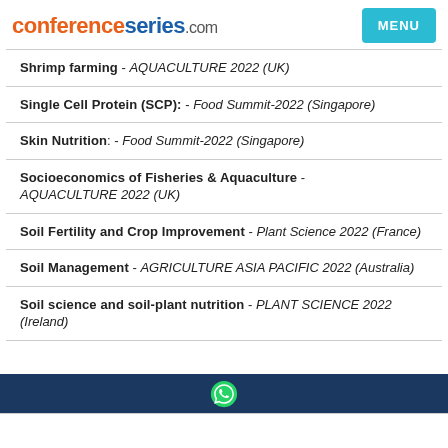conferenceseries.com
Shrimp farming - AQUACULTURE 2022 (UK)
Single Cell Protein (SCP): - Food Summit-2022 (Singapore)
Skin Nutrition: - Food Summit-2022 (Singapore)
Socioeconomics of Fisheries & Aquaculture - AQUACULTURE 2022 (UK)
Soil Fertility and Crop Improvement - Plant Science 2022 (France)
Soil Management - AGRICULTURE ASIA PACIFIC 2022 (Australia)
Soil science and soil-plant nutrition - PLANT SCIENCE 2022 (Ireland)